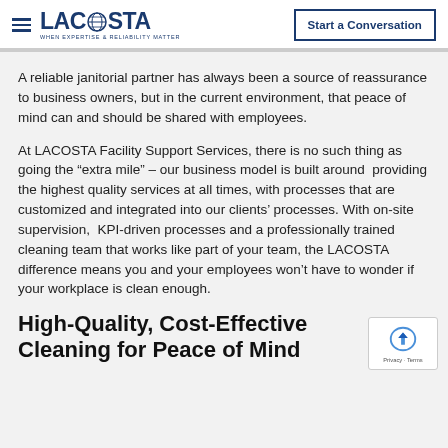[Figure (logo): LACOSTA logo with hamburger menu icon and globe in the name, tagline: WHEN EXPERTISE & RELIABILITY MATTER]
Start a Conversation
A reliable janitorial partner has always been a source of reassurance to business owners, but in the current environment, that peace of mind can and should be shared with employees.
At LACOSTA Facility Support Services, there is no such thing as going the “extra mile” – our business model is built around  providing the highest quality services at all times, with processes that are customized and integrated into our clients’ processes. With on-site supervision,  KPI-driven processes and a professionally trained cleaning team that works like part of your team, the LACOSTA difference means you and your employees won’t have to wonder if your workplace is clean enough.
High-Quality, Cost-Effective Cleaning for Peace of Mind
[Figure (logo): Google reCAPTCHA badge with Privacy and Terms links]